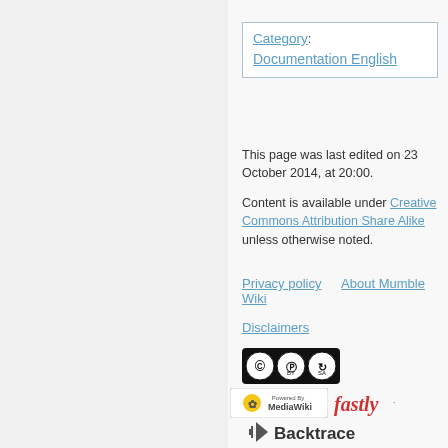Category: Documentation English
This page was last edited on 23 October 2014, at 20:00.
Content is available under Creative Commons Attribution Share Alike unless otherwise noted.
Privacy policy   About Mumble Wiki
Disclaimers
[Figure (logo): Creative Commons BY-SA license badge]
[Figure (logo): Powered by MediaWiki and Fastly logos]
[Figure (logo): Backtrace and MacStadium logos]